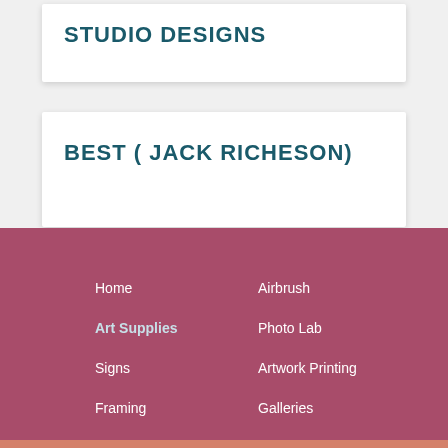STUDIO DESIGNS
BEST ( JACK RICHESON)
Home
Art Supplies
Signs
Framing
Restoration
Airbrush
Photo Lab
Artwork Printing
Galleries
Contact